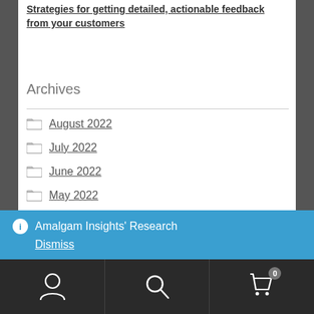Strategies for getting detailed, actionable feedback from your customers
Archives
August 2022
July 2022
June 2022
May 2022
Amalgam Insights' Research
Dismiss
User | Search | Cart 0